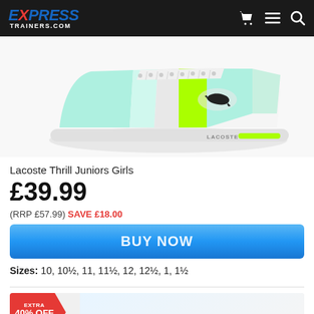EXPRESS TRAINERS.COM
[Figure (photo): Lacoste Thrill Juniors Girls trainer in white, mint/aqua, and bright green/lime colourway, side profile view on white background. Lacoste crocodile logo visible on side. LACOSTE branding on sole.]
Lacoste Thrill Juniors Girls
£39.99
(RRP £57.99) SAVE £18.00
BUY NOW
Sizes: 10, 10½, 11, 11½, 12, 12½, 1, 1½
[Figure (photo): Partial view of another trainer product with EXTRA 40% OFF THIS PRICE badge in red arrow shape overlaid on product image.]